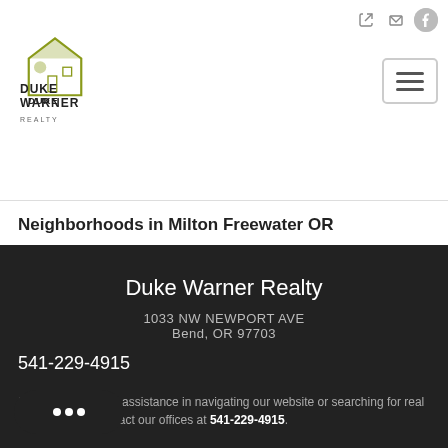[Figure (logo): Duke Warner Realty logo with house illustration and text DUKE WARNER REALTY]
Neighborhoods in Milton Freewater OR
Irelands Addition To Milton
Duke Warner Realty
1033 NW NEWPORT AVE
Bend, OR 97703
541-229-4915
Should you require assistance in navigating our website or searching for real estate, please contact our offices at 541-229-4915.